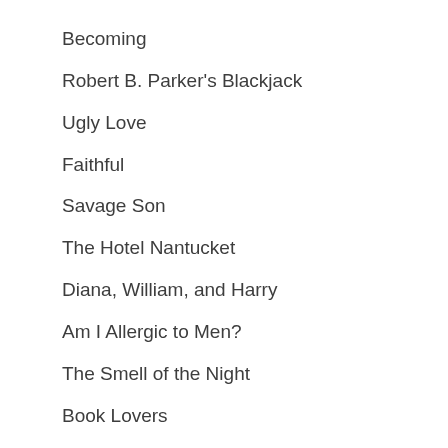Becoming
Robert B. Parker's Blackjack
Ugly Love
Faithful
Savage Son
The Hotel Nantucket
Diana, William, and Harry
Am I Allergic to Men?
The Smell of the Night
Book Lovers
Mastering Charlotte - The Complete 'Mastering the Virgin' Series
Make Me Whole